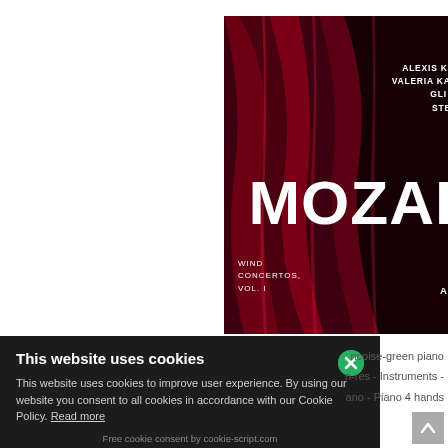[Figure (illustration): Mozart Wind Concertos Vol. 1 album cover by Claves Records. Dark red curtain background. Top right: 'claves' italic logo. Artist names: ALEXIS KOSSENKO FLUTE, VALERIA KAFELNIKOV HARP, GLI ANGELI GENÈVE, STEPHAN MACLEOD. Large white bold MOZART text in center. Bottom left: WIND CONCERTOS, VOL. I. Bottom right: CONCERTOS FOR FLUTE AND ORCHESTRA.]
This website uses cookies
This website uses cookies to improve user experience. By using our website you consent to all cookies in accordance with our Cookie Policy. Read more
Free cookie consent by cookie-script.com
ncoise-green piano
n-res - Instruments -
ano - Piano 4 hands